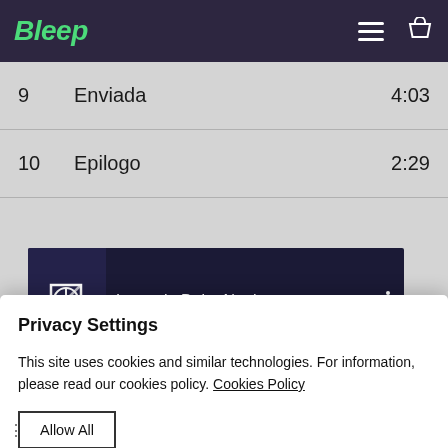Bleep
| # | Title | Duration |
| --- | --- | --- |
| 9 | Enviada | 4:03 |
| 10 | Epilogo | 2:29 |
[Figure (screenshot): Music player showing Lucrecia Dalt - No tiem... with album art icon and three-dot menu]
Privacy Settings
This site uses cookies and similar technologies. For information, please read our cookies policy. Cookies Policy
Allow All
Manage Consent Preferences